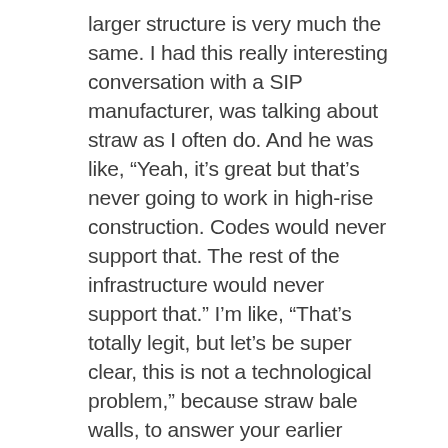larger structure is very much the same. I had this really interesting conversation with a SIP manufacturer, was talking about straw as I often do. And he was like, “Yeah, it’s great but that’s never going to work in high-rise construction. Codes would never support that. The rest of the infrastructure would never support that.” I’m like, “That’s totally legit, but let’s be super clear, this is not a technological problem,” because straw bale walls, to answer your earlier question, are Class A fire-rated walls, they’ve been rated by STM. There’s not a risk there. But somehow we found a way to say that the only way we could possibly insulate these buildings is by wrapping them with petrochemical fuel. Straight up, legit, the amount of chemicals that have to be added to these foam boards to be able to keep them from combusting,